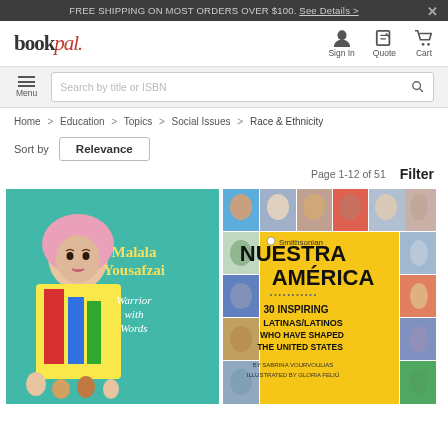FREE SHIPPING ON MOST ORDERS OVER $100. See Details >
[Figure (logo): bookpal logo with 'pal' in red italic script]
Sign In  Quote  Cart
Menu  Search by title or ISBN
Home > Education > Topics > Social Issues > Race & Ethnicity
Sort by  Relevance
Page 1-12 of 51  Filter
[Figure (illustration): Book cover: Malala Yousafzai - Warrior with Words. Illustrated cover with girl in pink headscarf on teal/green background.]
[Figure (illustration): Book cover: Smithsonian Nuestra América - 30 Inspiring Latinas/Latinos Who Have Shaped The United States. Yellow cover with grid of portrait photos. By Sabrina Vourvoulias, illustrated by Gloria Feliú.]